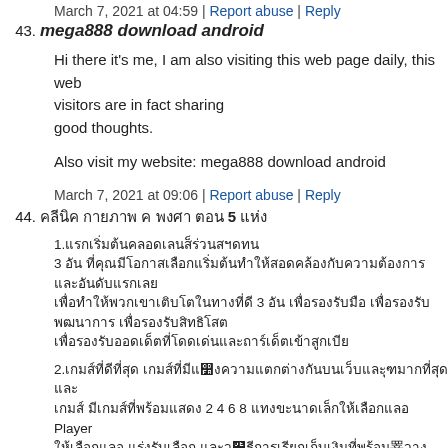March 7, 2021 at 04:59 | Report abuse | Reply
43. mega888 download android
Hi there it's me, I am also visiting this web page daily, this web visitors are in fact sharing
good thoughts.
Also visit my website: mega888 download android
March 7, 2021 at 09:06 | Report abuse | Reply
44. (Thai text)
1.(Thai) 3 (Thai) 3 (Thai)
2.(Thai) 2 4 6 8 (Thai) Player (Thai) 98%
3.(Thai)
March 7, 2021 at 09:48 | Report abuse | Reply